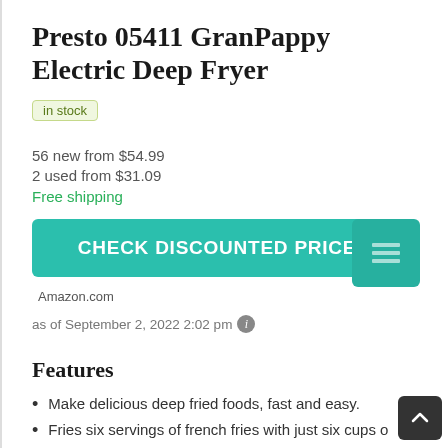Presto 05411 GranPappy Electric Deep Fryer
in stock
56 new from $54.99
2 used from $31.09
Free shipping
CHECK DISCOUNTED PRICE
Amazon.com
as of September 2, 2022 2:02 pm
Features
Make delicious deep fried foods, fast and easy.
Fries six servings of french fries with just six cups o